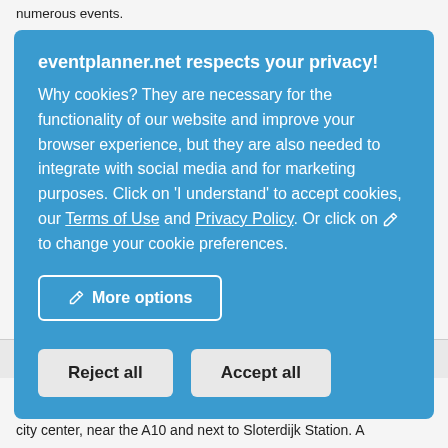numerous events.
eventplanner.net respects your privacy!
Why cookies? They are necessary for the functionality of our website and improve your browser experience, but they are also needed to integrate with social media and for marketing purposes. Click on 'I understand' to accept cookies, our Terms of Use and Privacy Policy. Or click on ✏ to change your cookie preferences.
More options
Reject all
Accept all
Write review  |  Amsterdam (10.7 km)
Aristo Amsterdam is located outside the hectic pace of the busy city center, near the A10 and next to Sloterdijk Station. A